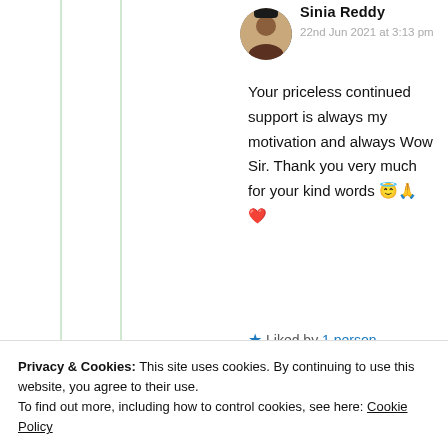Sinia Reddy
22nd Jun 2021 at 3:13 pm
Your priceless continued support is always my motivation and always Wow Sir. Thank you very much for your kind words 😇🙏❤️
★ Liked by 1 person
Log in to Reply
Privacy & Cookies: This site uses cookies. By continuing to use this website, you agree to their use.
To find out more, including how to control cookies, see here: Cookie Policy
Close and accept